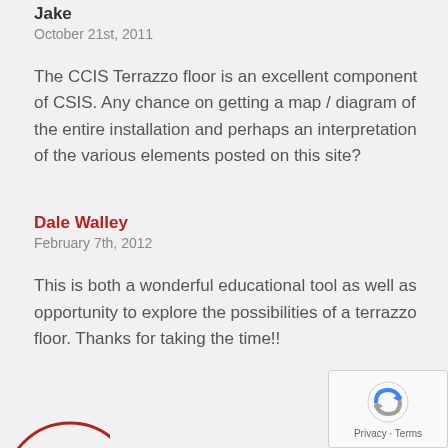Jake
October 21st, 2011
The CCIS Terrazzo floor is an excellent component of CSIS. Any chance on getting a map / diagram of the entire installation and perhaps an interpretation of the various elements posted on this site?
Dale Walley
February 7th, 2012
This is both a wonderful educational tool as well as opportunity to explore the possibilities of a terrazzo floor. Thanks for taking the time!!